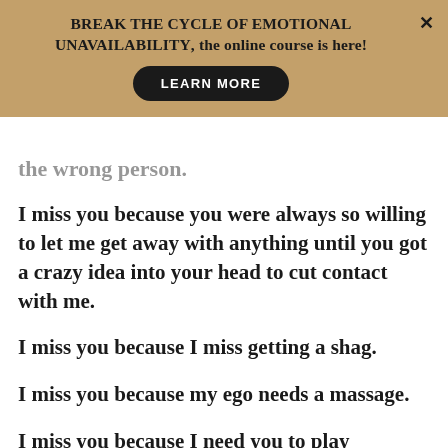BREAK THE CYCLE OF EMOTIONAL UNAVAILABILITY, the online course is here! LEARN MORE
the wrong person.
I miss you because you were always so willing to let me get away with anything until you got a crazy idea into your head to cut contact with me.
I miss you because I miss getting a shag.
I miss you because my ego needs a massage.
I miss you because I need you to play